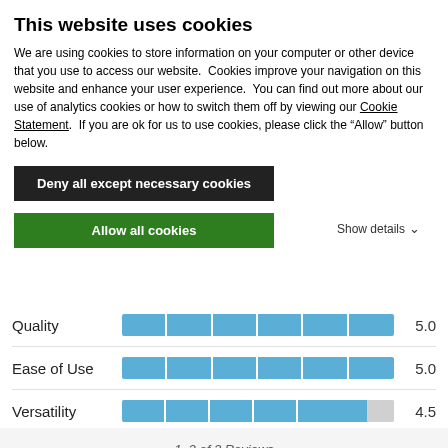This website uses cookies
We are using cookies to store information on your computer or other device that you use to access our website.  Cookies improve your navigation on this website and enhance your user experience.  You can find out more about our use of analytics cookies or how to switch them off by viewing our Cookie Statement.  If you are ok for us to use cookies, please click the “Allow” button below.
Deny all except necessary cookies
Allow all cookies
Show details
[Figure (bar-chart): Ratings]
1–2 of 2 Reviews
Sort by: Most Relevant